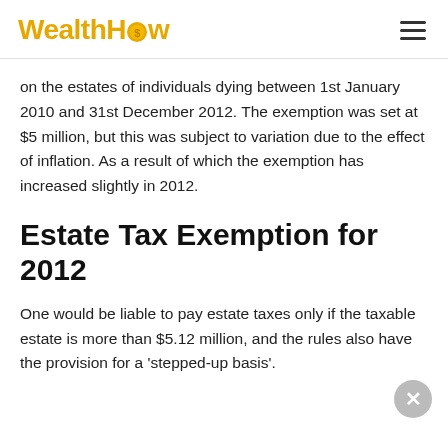WealthHow
on the estates of individuals dying between 1st January 2010 and 31st December 2012. The exemption was set at $5 million, but this was subject to variation due to the effect of inflation. As a result of which the exemption has increased slightly in 2012.
Estate Tax Exemption for 2012
One would be liable to pay estate taxes only if the taxable estate is more than $5.12 million, and the rules also have the provision for a 'stepped-up basis'.